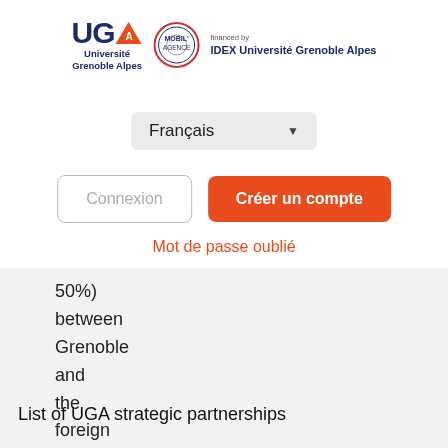[Figure (logo): UGA Université Grenoble Alpes logo with IDEX Université Grenoble Alpes financed by badge]
Français ▼
Connexion
Créer un compte
Mot de passe oublié
50%) between Grenoble and the foreign institution.
List of UGA strategic partnerships